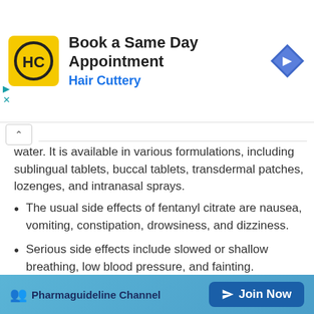[Figure (screenshot): Hair Cuttery advertisement banner with logo, 'Book a Same Day Appointment' text, and navigation icon]
water. It is available in various formulations, including sublingual tablets, buccal tablets, transdermal patches, lozenges, and intranasal sprays.
The usual side effects of fentanyl citrate are nausea, vomiting, constipation, drowsiness, and dizziness.
Serious side effects include slowed or shallow breathing, low blood pressure, and fainting.
Fentanyl citrate is a powerful opioid medication that is only available by prescription. It is important to use it only as directed by a healthcare provider.
SAR of Methadone hydrochloride
[Figure (screenshot): Pharmaguideline Channel Join Now bottom banner]